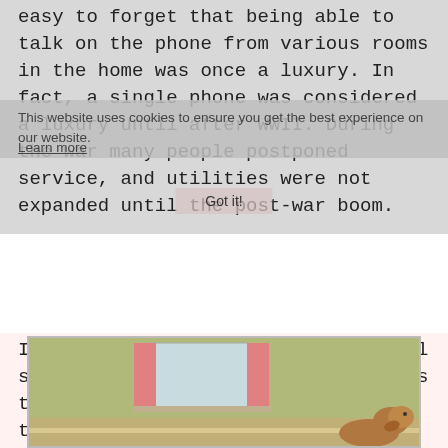easy to forget that being able to talk on the phone from various rooms in the home was once a luxury. In fact, a single phone was considered a luxury until after WWII. During the war many people postponed service, and utilities were not expanded until the post-war boom.
This website uses cookies to ensure you get the best experience on our website.
Learn more
Got it!
In the 1950s the idea of living well shifted from accepting the standards to having choices. For home telephones, that meant designer colors and features, as well as convenience. Like having a telephone in the kitchen so you could talk while you cooked, and one in the bedroom so you could chat with friends while folding laundry or making the bed. Teenagers might lounge in the living room talking dirt with a friend.
[Figure (photo): Partial view of a vintage room interior with pink curtains, a window, and what appears to be a dog visible at the bottom right.]